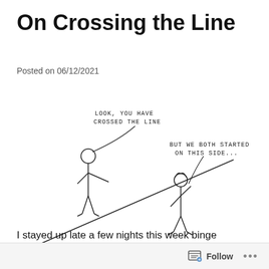On Crossing the Line
Posted on 06/12/2021
[Figure (illustration): Cartoon showing two stick figures on either side of a diagonal line. The left figure says 'LOOK, YOU HAVE CROSSED THE LINE' (with a curved speech line) and the right figure responds 'BUT WE BOTH STARTED ON THIS SIDE...' (with a curved speech line). A watermark reads 'CartoonChurch.com' at the bottom right.]
I stayed up late a few nights this week binge watching